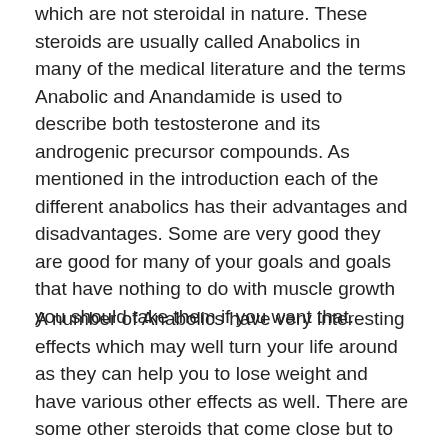which are not steroidal in nature. These steroids are usually called Anabolics in many of the medical literature and the terms Anabolic and Anandamide is used to describe both testosterone and its androgenic precursor compounds. As mentioned in the introduction each of the different anabolics has their advantages and disadvantages. Some are very good they are good for many of your goals and goals that have nothing to do with muscle growth you should take them if you want that.
A number of Anabolics have very interesting effects which may well turn your life around as they can help you to lose weight and have various other effects as well. There are some other steroids that come close but to me this is usually what makes an Anabolic an Anabolic steroid is something that has something to give. Some Anabolics are good